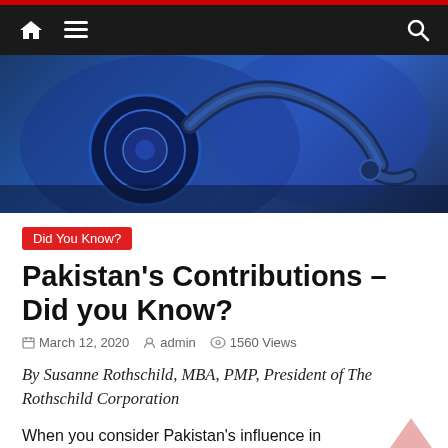Navigation bar with home, menu, and search icons
[Figure (photo): Close-up photo of a blue-tinted stethoscope on a blue background]
Did You Know?
Pakistan's Contributions – Did you Know?
March 12, 2020   admin   1560 Views
By Susanne Rothschild, MBA, PMP, President of The Rothschild Corporation
When you consider Pakistan's influence in